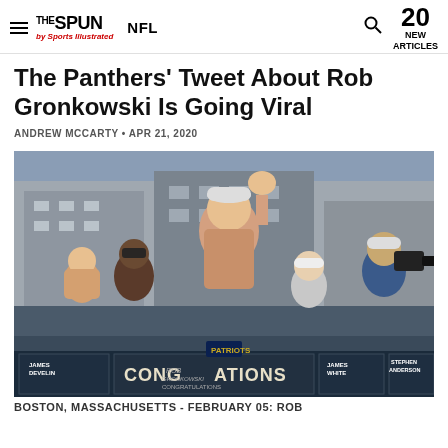THE SPUN by Sports Illustrated | NFL | 20 NEW ARTICLES
The Panthers' Tweet About Rob Gronkowski Is Going Viral
ANDREW MCCARTY • APR 21, 2020
[Figure (photo): Rob Gronkowski shirtless, waving at a parade, surrounded by crowd. Signs visible: JAMES DEVELIN, CONGRATULATIONS, ROB GRONKOWSKI, JAMES WHITE, STEPHEN ANDERSON.]
BOSTON, MASSACHUSETTS - FEBRUARY 05: Rob